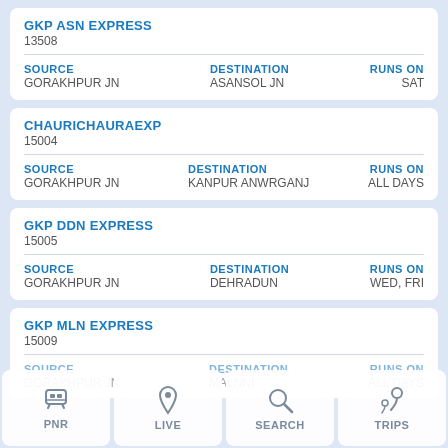GKP ASN EXPRESS
13508
SOURCE: GORAKHPUR JN
DESTINATION: ASANSOL JN
RUNS ON: SAT
CHAURICHAURAEXP
15004
SOURCE: GORAKHPUR JN
DESTINATION: KANPUR ANWRGANJ
RUNS ON: ALL DAYS
GKP DDN EXPRESS
15005
SOURCE: GORAKHPUR JN
DESTINATION: DEHRADUN
RUNS ON: WED, FRI
GKP MLN EXPRESS
15009
SOURCE: GORAKHPUR JN
DESTINATION: MALNNI
RUNS ON: ALL DAYS
PNR | LIVE | SEARCH | TRIPS